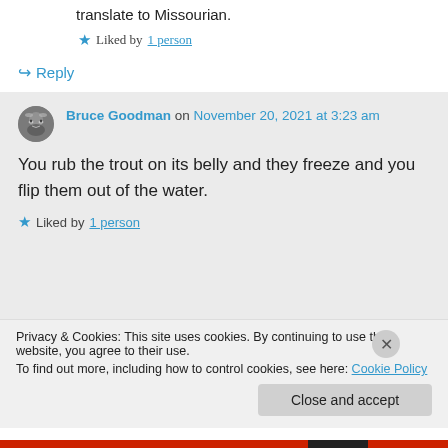translate to Missourian.
★ Liked by 1 person
↪ Reply
Bruce Goodman on November 20, 2021 at 3:23 am
You rub the trout on its belly and they freeze and you flip them out of the water.
★ Liked by 1 person
Privacy & Cookies: This site uses cookies. By continuing to use this website, you agree to their use.
To find out more, including how to control cookies, see here: Cookie Policy
Close and accept